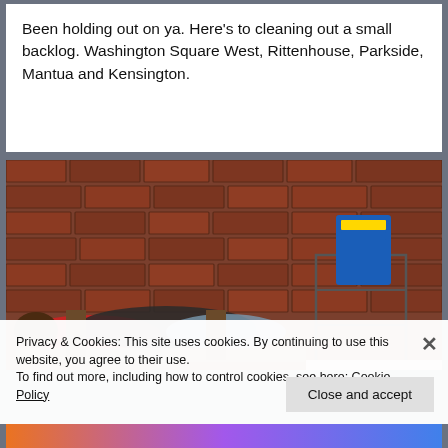Been holding out on ya. Here's to cleaning out a small backlog. Washington Square West, Rittenhouse, Parkside, Mantua and Kensington.
[Figure (photo): Person lying on a bench or surface against a brick wall outdoors, with blankets and belongings including a shopping cart with a blue container, on a sidewalk.]
Privacy & Cookies: This site uses cookies. By continuing to use this website, you agree to their use.
To find out more, including how to control cookies, see here: Cookie Policy